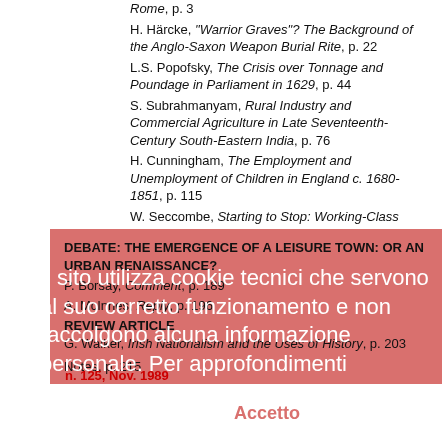Rome, p. 3
H. Härcke, "Warrior Graves"? The Background of the Anglo-Saxon Weapon Burial Rite, p. 22
L.S. Popofsky, The Crisis over Tonnage and Poundage in Parliament in 1629, p. 44
S. Subrahmanyam, Rural Industry and Commercial Agriculture in Late Seventeenth-Century South-Eastern India, p. 76
H. Cunningham, The Employment and Unemployment of Children in England c. 1680-1851, p. 115
W. Seccombe, Starting to Stop: Working-Class Fertility Decline in Britain, p. 151
DEBATE: THE EMERGENCE OF A LEISURE TOWN: OR AN URBAN RENAISSANCE?
P. Borsay, Comment, p. 189
A. McInnes, Reply, p. 196
REVIEW ARTICLE
G. Walker, Irish Nationalism and the Uses of History, p. 203
Notes, p. 215
n. 125, Nov. 1989
R. Thapar, Epic and History: Tradition, Dissent and Politics in India, p. 3